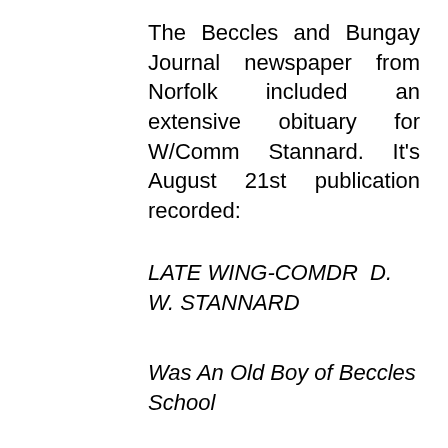The Beccles and Bungay Journal newspaper from Norfolk included an extensive obituary for W/Comm Stannard. It's August 21st publication recorded:
LATE WING-COMDR  D. W. STANNARD
Was An Old Boy of Beccles School